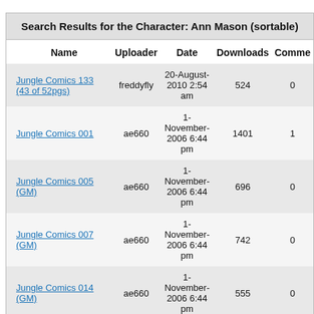Search Results for the Character: Ann Mason (sortable)
| Name | Uploader | Date | Downloads | Comme |
| --- | --- | --- | --- | --- |
| Jungle Comics 133 (43 of 52pgs) | freddyfly | 20-August-2010 2:54 am | 524 | 0 |
| Jungle Comics 001 | ae660 | 1-November-2006 6:44 pm | 1401 | 1 |
| Jungle Comics 005 (GM) | ae660 | 1-November-2006 6:44 pm | 696 | 0 |
| Jungle Comics 007 (GM) | ae660 | 1-November-2006 6:44 pm | 742 | 0 |
| Jungle Comics 014 (GM) | ae660 | 1-November-2006 6:44 pm | 555 | 0 |